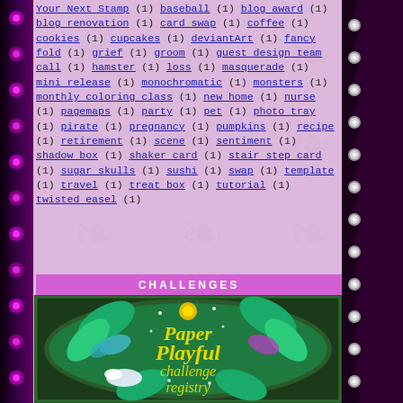Your Next Stamp (1) baseball (1) blog award (1) blog renovation (1) card swap (1) coffee (1) cookies (1) cupcakes (1) deviantArt (1) fancy fold (1) grief (1) groom (1) guest design team call (1) hamster (1) loss (1) masquerade (1) mini release (1) monochromatic (1) monsters (1) monthly coloring class (1) new home (1) nurse (1) pagemaps (1) party (1) pet (1) photo tray (1) pirate (1) pregnancy (1) pumpkins (1) recipe (1) retirement (1) scene (1) sentiment (1) shadow box (1) shaker card (1) stair step card (1) sugar skulls (1) sushi (1) swap (1) template (1) travel (1) treat box (1) tutorial (1) twisted easel (1)
CHALLENGES
[Figure (illustration): Paper Playful challenge registry badge with decorative floral/butterfly design in teal and green tones with gold script text]